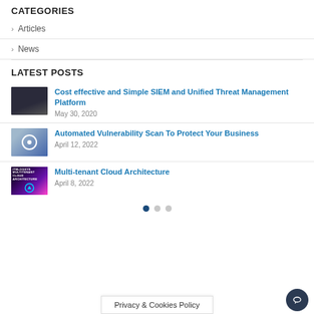CATEGORIES
> Articles
> News
LATEST POSTS
Cost effective and Simple SIEM and Unified Threat Management Platform
May 30, 2020
Automated Vulnerability Scan To Protect Your Business
April 12, 2022
Multi-tenant Cloud Architecture
April 8, 2022
Privacy & Cookies Policy